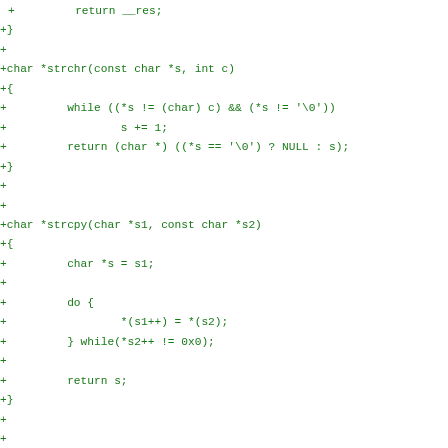+         return __res;
+}
+
+char *strchr(const char *s, int c)
+{
+         while ((*s != (char) c) && (*s != '\0'))
+                 s += 1;
+         return (char *) ((*s == '\0') ? NULL : s);
+}
+
+
+char *strcpy(char *s1, const char *s2)
+{
+         char *s = s1;
+
+         do {
+                 *(s1++) = *(s2);
+         } while(*s2++ != 0x0);
+
+         return s;
+}
+
+
+char *strncpy(char *s1, const char *s2, size_t n)
+{
+         char *s = s1;
+
+         while (n-- > 0) {
+                 if ((*(s1++) = *(s2++)) == '\0')
+                         break;
+         }